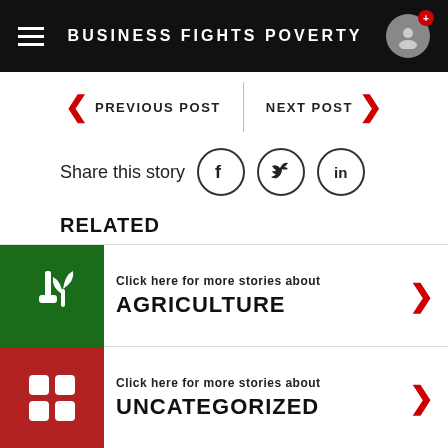BUSINESS FIGHTS POVERTY
< PREVIOUS POST | NEXT POST >
Share this story
RELATED
Click here for more stories about AGRICULTURE
Click here for more stories about UNCATEGORIZED
Click here for more stories about WATER & SANITATION